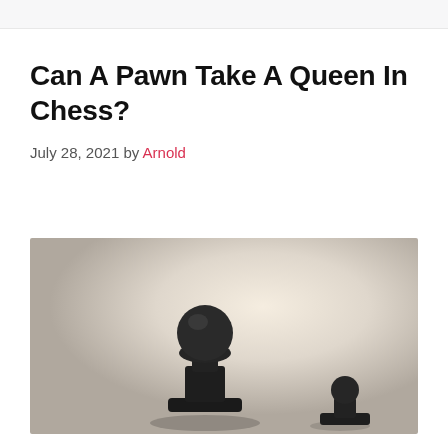Can A Pawn Take A Queen In Chess?
July 28, 2021 by Arnold
[Figure (photo): Dark chess pieces (pawn and partial view of another piece) against a light beige/cream gradient background, shot from a low angle]